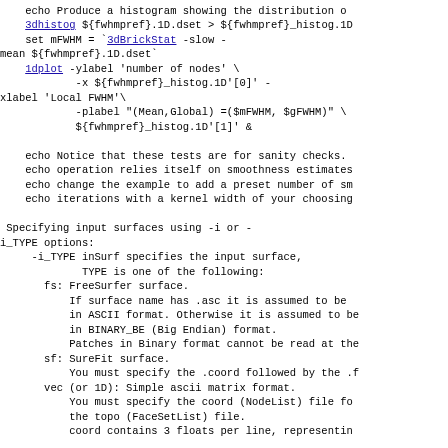echo Produce a histogram showing the distribution o
    3dhistog ${fwhmpref}.1D.dset > ${fwhmpref}_histog.1D
    set mFWHM = `3dBrickStat -slow -
mean ${fwhmpref}.1D.dset`
    1dplot -ylabel 'number of nodes' \
            -x ${fwhmpref}_histog.1D'[0]' -
xlabel 'Local FWHM'\
            -plabel "(Mean,Global) =($mFWHM, $gFWHM)" \
            ${fwhmpref}_histog.1D'[1]' &

    echo Notice that these tests are for sanity checks.
    echo operation relies itself on smoothness estimates
    echo change the example to add a preset number of sm
    echo iterations with a kernel width of your choosing

 Specifying input surfaces using -i or -
i_TYPE options:
     -i_TYPE inSurf specifies the input surface,
             TYPE is one of the following:
       fs: FreeSurfer surface.
           If surface name has .asc it is assumed to be
           in ASCII format. Otherwise it is assumed to be
           in BINARY_BE (Big Endian) format.
           Patches in Binary format cannot be read at the
       sf: SureFit surface.
           You must specify the .coord followed by the .f
       vec (or 1D): Simple ascii matrix format.
           You must specify the coord (NodeList) file fo
           the topo (FaceSetList) file.
           coord contains 3 floats per line, representin